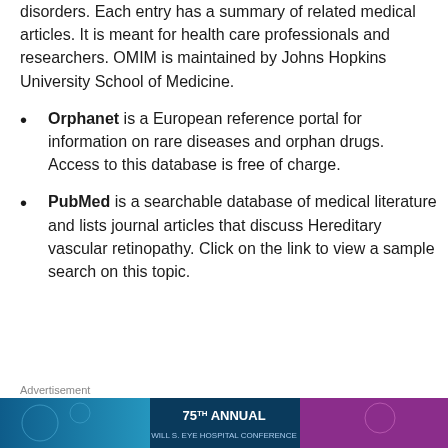disorders. Each entry has a summary of related medical articles. It is meant for health care professionals and researchers. OMIM is maintained by Johns Hopkins University School of Medicine.
Orphanet is a European reference portal for information on rare diseases and orphan drugs. Access to this database is free of charge.
PubMed is a searchable database of medical literature and lists journal articles that discuss Hereditary vascular retinopathy. Click on the link to view a sample search on this topic.
Advertisement
[Figure (photo): Colorful advertisement banner showing medical/conference imagery with text '75TH ANNUAL' visible]